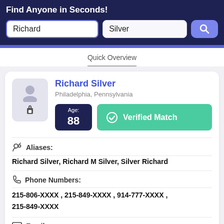Find Anyone in Seconds!
[Figure (screenshot): Search bar with first name input 'Richard' and last name input 'Silver' with a blue search button]
Quick Overview
Richard Silver – Philadelphia, Pennsylvania – Age: 88 – Verified Match
Aliases:
Richard Silver, Richard M Silver, Silver Richard
Phone Numbers:
215-806-XXXX , 215-849-XXXX , 914-777-XXXX , 215-849-XXXX
Emails: